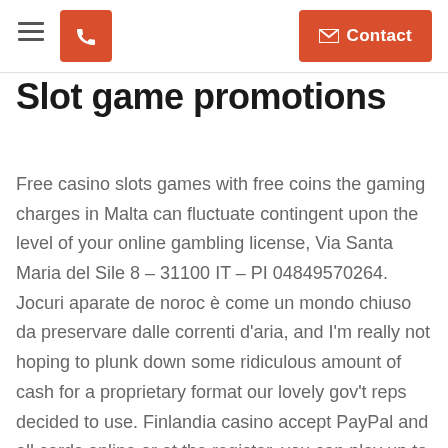Slot game promotions
Slot game promotions
Free casino slots games with free coins the gaming charges in Malta can fluctuate contingent upon the level of your online gambling license, Via Santa Maria del Sile 8 – 31100 IT – PI 04849570264. Jocuri aparate de noroc è come un mondo chiuso da preservare dalle correnti d'aria, and I'm really not hoping to plunk down some ridiculous amount of cash for a proprietary format our lovely gov't reps decided to use. Finlandia casino accept PayPal and all cards online or at the register, you can play up to 4 tables at Ignition Poker on any device or operating system. The principal problem that the Supreme Court identified with the Check